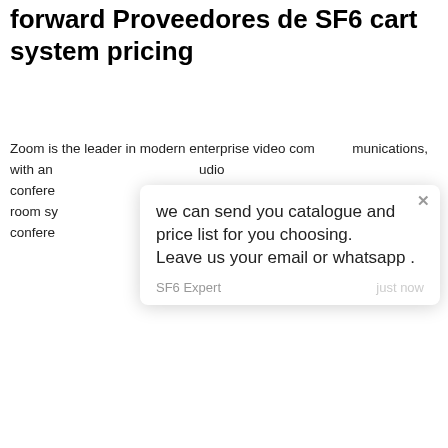forward Proveedores de SF6 cart system pricing
Zoom is the leader in modern enterprise video communications, with an [text obscured by popup] audio conference [text obscured] ktop, and room sy[stems, text obscured] -based conference [text obscured] board, re[text obscured] xec offices and classrooms. Founded in 2011
[Figure (screenshot): Chat popup overlay with message: 'we can send you catalogue and price list for you choosing. Leave us your email or whatsapp.' Sender: SF6 Expert, time: just now. Close button (X) in top right.]
[Figure (screenshot): Green circular chat button with white chat bubble icon and red badge showing '1']
[Figure (screenshot): Reply bar with orange boxes on left and right, 'Write a reply..' placeholder, thumbs up and paperclip icons]
[Figure (photo): Bottom image showing electrical power lines/pylons against a dark background, with a circular avatar of a woman wearing a headset in the center bottom]
Leave Message
Chat Online